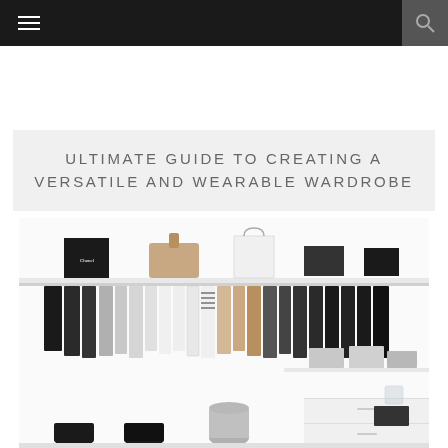Navigation bar with hamburger menu and search icon
ULTIMATE GUIDE TO CREATING A VERSATILE AND WEARABLE WARDROBE
[Figure (photo): A minimal white walk-in wardrobe with clothes hanging on a rod, shelves above with boxes and bags, shoes on the floor, and storage boxes below. Monochromatic wardrobe with black, white, grey, and beige tones.]